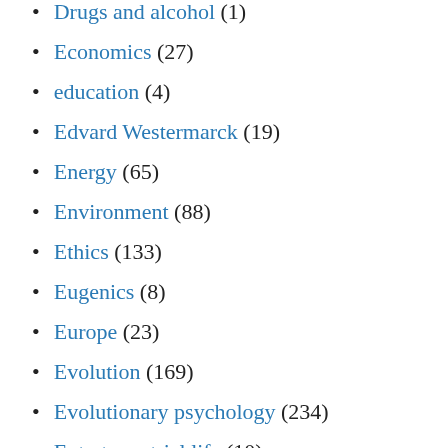Drugs and alcohol (1)
Economics (27)
education (4)
Edvard Westermarck (19)
Energy (65)
Environment (88)
Ethics (133)
Eugenics (8)
Europe (23)
Evolution (169)
Evolutionary psychology (234)
Extraterrestrial life (10)
feminism (3)
Food irradiation (1)
Football (1)
Foreign affairs (25)
free will (4)